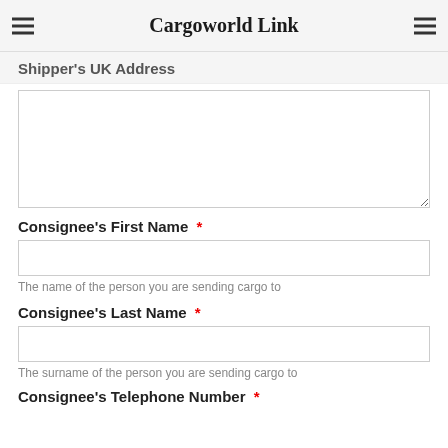Cargoworld Link
Shipper's UK Address
Consignee's First Name *
The name of the person you are sending cargo to
Consignee's Last Name *
The surname of the person you are sending cargo to
Consignee's Telephone Number *